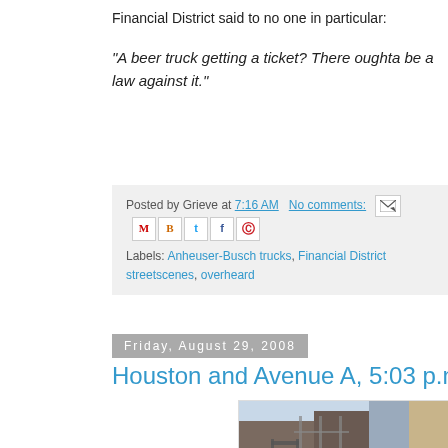Financial District said to no one in particular:
"A beer truck getting a ticket? There oughta be a law against it."
Posted by Grieve at 7:16 AM   No comments:   Labels: Anheuser-Busch trucks, Financial District streetscenes, overheard
Friday, August 29, 2008
Houston and Avenue A, 5:03 p.m., Aug. 2
[Figure (photo): Street scene at Houston and Avenue A showing buildings, fire escapes, scaffolding, a parking garage sign reading PARK FAST OPEN 24 HOURS, street lamps, and storefronts including partial text 'eleme' and 'BAR']